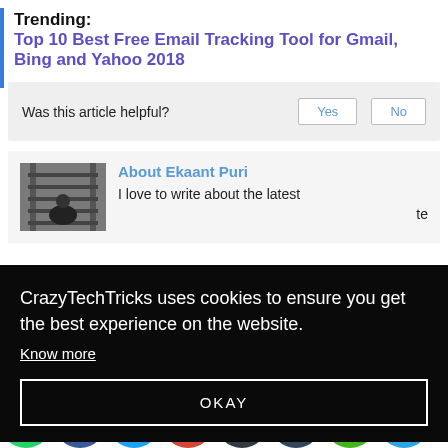Trending: Top 10 Best Free Email Tracking Tool for Gmail, Bing and Yahoo 2018
Was this article helpful? Yes No
[Figure (illustration): Author photo of Ekaant Puri — a person near railway tracks]
About Ekaant Puri
I love to write about the latest te
CrazyTechTricks uses cookies to ensure you get the best experience on the website. Know more OKAY
[Figure (infographic): Social sharing icons row: WhatsApp, Facebook, Twitter, Gmail, Buffer, Tumblr, Koo, Telegram]